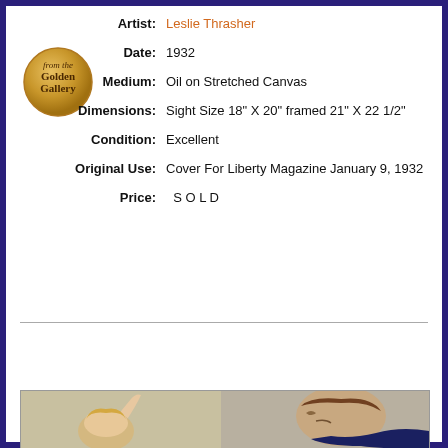[Figure (logo): Gold circular badge reading 'from the Golden Gallery']
Artist: Leslie Thrasher
Date: 1932
Medium: Oil on Stretched Canvas
Dimensions: Sight Size 18" X 20" framed 21" X 22 1/2"
Condition: Excellent
Original Use: Cover For Liberty Magazine January 9, 1932
Price: S O L D
[Figure (illustration): Oval navy blue Enquire button with gold italic text]
[Figure (photo): Painting showing a blonde woman raising her hand and a man in profile, 1932 Liberty Magazine cover artwork by Leslie Thrasher]